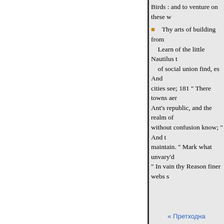Birds : and to venture on these w
Thy arts of building from the Bee,
Learn of the little Nautilus t
of social union find, es And
cities see; 181 " There towns aer
Ant's republic, and the realm of
without confusion know; " And t
maintain. " Mark what unvary'd
" In vain thy Reason finer webs s
VE2. 174. Learn from the beasts
of Animals dif. covering the med
operations in the art of healing, b
VER. 177. Learn of the little Na
swim on the surface of the sea, o
they raise two " feet like mafts, a
they employ as oars at 's the hide
« Претходна